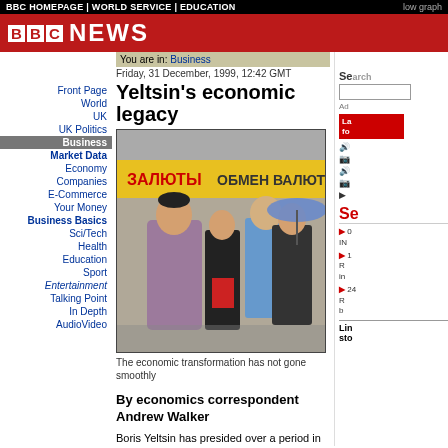BBC HOMEPAGE | WORLD SERVICE | EDUCATION
[Figure (logo): BBC News logo with red BBC blocks and white NEWS text on dark red background]
You are in: Business
Friday, 31 December, 1999, 12:42 GMT
Yeltsin's economic legacy
[Figure (photo): Street scene outside Russian currency exchange shop (ОБМЕН ВАЛЮТЫ), showing several people including a man in plaid shirt, a woman, and men with an umbrella]
The economic transformation has not gone smoothly
By economics correspondent Andrew Walker
Boris Yeltsin has presided over a period in